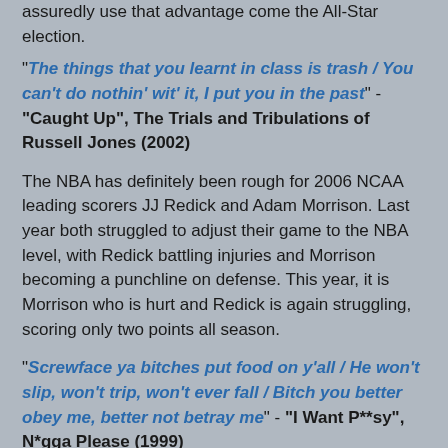assuredly use that advantage come the All-Star election.
"The things that you learnt in class is trash / You can't do nothin' wit' it, I put you in the past" - "Caught Up", The Trials and Tribulations of Russell Jones (2002)
The NBA has definitely been rough for 2006 NCAA leading scorers JJ Redick and Adam Morrison. Last year both struggled to adjust their game to the NBA level, with Redick battling injuries and Morrison becoming a punchline on defense. This year, it is Morrison who is hurt and Redick is again struggling, scoring only two points all season.
"Screwface ya bitches put food on y'all / He won't slip, won't trip, won't ever fall / Bitch you better obey me, better not betray me" - "I Want P**sy", N*gga Please (1999)
Only one man in the NBA is more untouchable than Elliot Ness. The man with the Teflon rep and the smooth smile. The Billy Dee Williams of the NBA, Isiah Thomas. Although the Knicks have clawed their way to mediocrity of late,